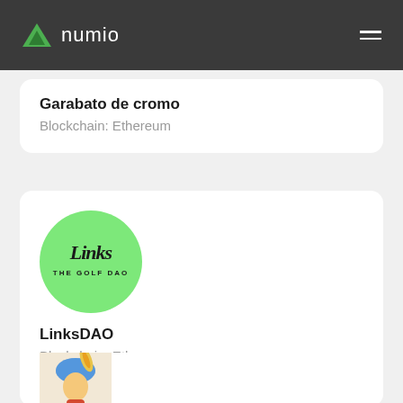numio
Garabato de cromo
Blockchain: Ethereum
[Figure (logo): LinksDAO logo — green circle with 'Links THE GOLF DAO' script text]
LinksDAO
Blockchain: Ethereum
[Figure (illustration): Partial NFT card at bottom — colorful character illustration on beige background, cropped]